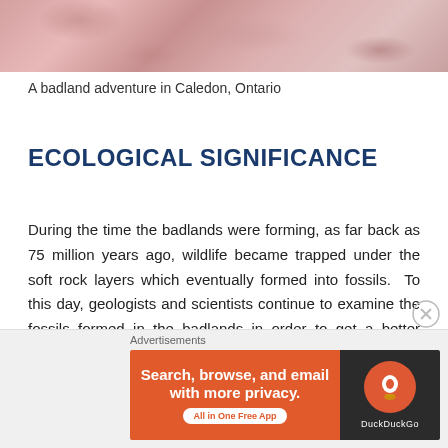[Figure (photo): Aerial or close-up photograph of reddish-pink badland rock terrain in Caledon, Ontario]
A badland adventure in Caledon, Ontario
ECOLOGICAL SIGNIFICANCE
During the time the badlands were forming, as far back as 75 million years ago, wildlife became trapped under the soft rock layers which eventually formed into fossils. To this day, geologists and scientists continue to examine the fossils formed in the badlands in order to get a better understanding as to what inhabited our earth during pre-historic times.
[Figure (screenshot): DuckDuckGo advertisement banner: 'Search, browse, and email with more privacy. All in One Free App' with DuckDuckGo logo]